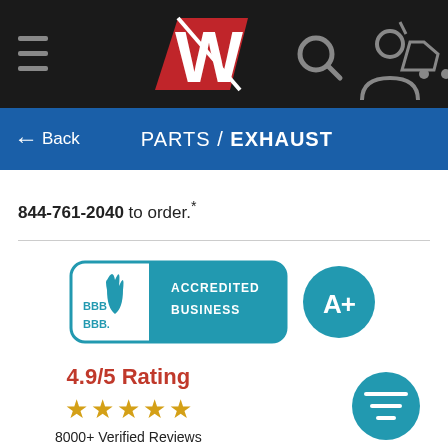[Figure (logo): EW brand logo with red W on dark background navigation bar, with hamburger menu, search, account, and cart icons]
← Back   PARTS / EXHAUST
844-761-2040 to order.*
[Figure (logo): BBB Accredited Business A+ badge with teal background and circular A+ rating badge]
4.9/5 Rating
★★★★★
8000+ Verified Reviews